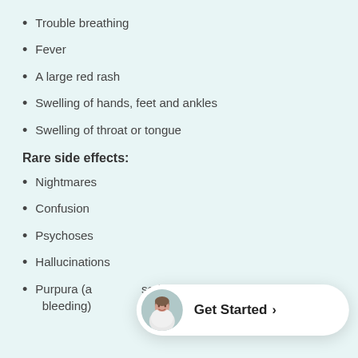Trouble breathing
Fever
A large red rash
Swelling of hands, feet and ankles
Swelling of throat or tongue
Rare side effects:
Nightmares
Confusion
Psychoses
Hallucinations
Purpura (a rash caused by internal bleeding)